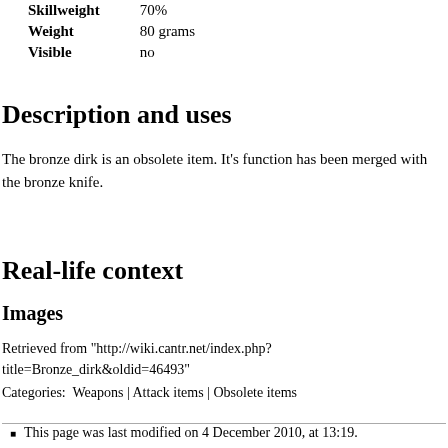| Skillweight | 70% |
| Weight | 80 grams |
| Visible | no |
Description and uses
The bronze dirk is an obsolete item. It's function has been merged with the bronze knife.
Real-life context
Images
Retrieved from "http://wiki.cantr.net/index.php?title=Bronze_dirk&oldid=46493"
Categories:  Weapons | Attack items | Obsolete items
This page was last modified on 4 December 2010, at 13:19.